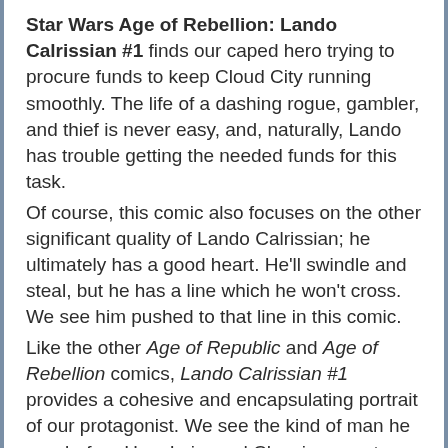Star Wars Age of Rebellion: Lando Calrissian #1 finds our caped hero trying to procure funds to keep Cloud City running smoothly. The life of a dashing rogue, gambler, and thief is never easy, and, naturally, Lando has trouble getting the needed funds for this task. Of course, this comic also focuses on the other significant quality of Lando Calrissian; he ultimately has a good heart. He'll swindle and steal, but he has a line which he won't cross. We see him pushed to that line in this comic. Like the other Age of Republic and Age of Rebellion comics, Lando Calrissian #1 provides a cohesive and encapsulating portrait of our protagonist. We see the kind of man he was before Han, Leia, and Chewie came to Bespin after the Battle of Hoth, and we see what he did to